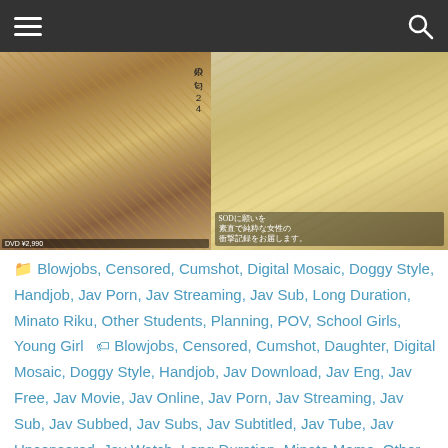Navigation header with hamburger menu and search icon
[Figure (photo): DVD cover image split into two panels: left side shows a collage of Japanese DVD cover with text and multiple photos, right side shows a gymnasium scene with people]
🗂 Blowjobs, Censored, Cumshot, Digital Mosaic, Doggy Style, Handjob, Jav Porn, Jav Streaming, Jav Sub, Long Duration, Minato Riku, Other Students, Planning, POV, School Girls, Young Girl 🏷 Blowjobs, Censored, Cumshot, Daughter, Digital Mosaic, Doggy Style, Handjob, Jav Download, Jav Eng, Jav Free, Jav Movie, Jav Online, Jav Porn, Jav Streaming, Jav Sub, Jav Subbed, Jav Subs, Jav Subtitled, Jav Tube, Jav Uncensored, Jav Watch, Long Duration, Minato Momo, Other Students, Planning, POV, School Girls, Young Girl